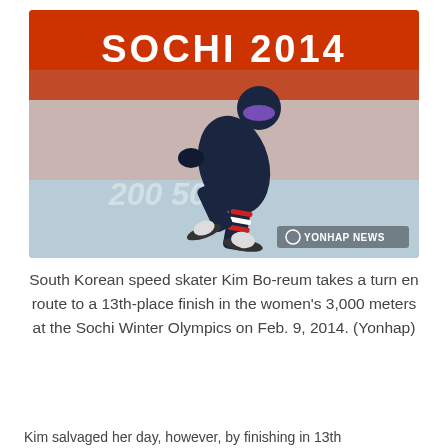[Figure (photo): South Korean speed skater Kim Bo-reum in a dark navy speed skating suit with purple goggles and dark helmet, crouched in skating position on ice. Background shows an orange-red Sochi 2014 Olympic banner and ice rink. Yonhap News watermark in bottom right.]
South Korean speed skater Kim Bo-reum takes a turn en route to a 13th-place finish in the women's 3,000 meters at the Sochi Winter Olympics on Feb. 9, 2014. (Yonhap)
Kim salvaged her day, however, by finishing in 13th